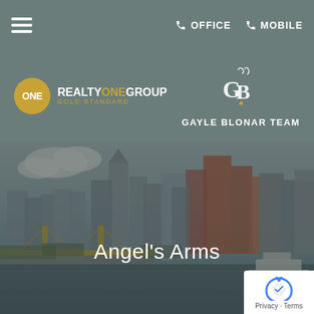≡  OFFICE  MOBILE
[Figure (logo): Realty ONE Group Gold Standard logo with golden circle and text]
[Figure (logo): Gayle Blonar Team logo with GB monogram and white text]
[Figure (photo): Pittsburgh city skyline with yellow bridge over river, ferry boat visible]
Angel's Arms
[Figure (other): Google reCAPTCHA / Privacy Terms badge in bottom right corner]